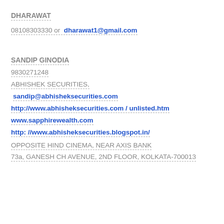DHARAWAT
08108303330 or dharawat1@gmail.com
SANDIP GINODIA
9830271248
ABHISHEK SECURITIES,
sandip@abhisheksecurities.com
http://www.abhisheksecurities.com / unlisted.htm
www.sapphirewealth.com
http: //www.abhisheksecurities.blogspot.in/
OPPOSITE HIND CINEMA, NEAR AXIS BANK
73a, GANESH CH AVENUE, 2ND FLOOR, KOLKATA-700013